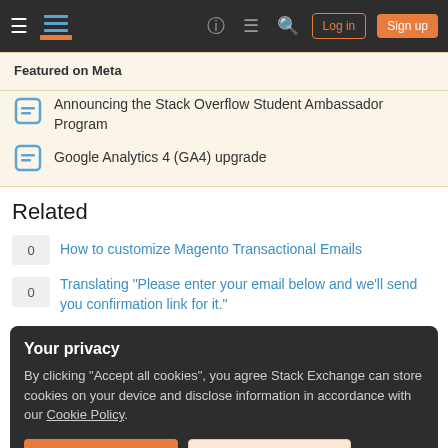Stack Overflow navigation bar with hamburger, logo, help, chat, search, Log in, Sign up
Featured on Meta
Announcing the Stack Overflow Student Ambassador Program
Google Analytics 4 (GA4) upgrade
Related
0 How to customize Magento Transactional Emails
0 Translating "Please enter your email below and we'll send you confirmation link for it."
Your privacy
By clicking "Accept all cookies", you agree Stack Exchange can store cookies on your device and disclose information in accordance with our Cookie Policy.
Accept all cookies  Customize settings
1 Shipment emails not sent for new orders after upgrade to 2.3.5